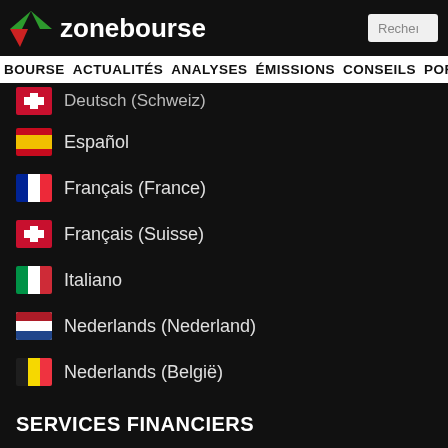zonebourse
BOURSE ACTUALITÉS ANALYSES ÉMISSIONS CONSEILS PORTEF…
Deutsch (Schweiz)
Español
Français (France)
Français (Suisse)
Italiano
Nederlands (Nederland)
Nederlands (België)
SERVICES FINANCIERS
Offre de courtage Interactive Brokers
Offre de courtage ProRealTime
Fonds Europa One
Portfolio Manager